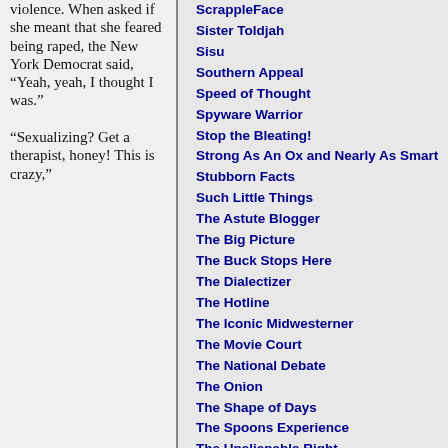violence. When asked if she meant that she feared being raped, the New York Democrat said, "Yeah, yeah, I thought I was."

"Sexualizing? Get a therapist, honey! This is crazy,"
ScrappleFace
Sister Toldjah
Sisu
Southern Appeal
Speed of Thought
Spyware Warrior
Stop the Bleating!
Strong As An Ox and Nearly As Smart
Stubborn Facts
Such Little Things
The Astute Blogger
The Big Picture
The Buck Stops Here
The Dialectizer
The Hotline
The Iconic Midwesterner
The Movie Court
The National Debate
The Onion
The Shape of Days
The Spoons Experience
The Unalienable Right
The View from the Nest
The Volokh Conspiracy
ThoughtsOnline
ThreeSheets
TigerHawk
Tim Blair
Tim Worstall
Villainous Company
VodkaPundit
Winds of Change